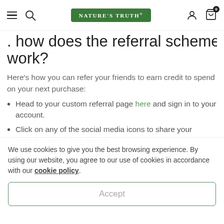Nature's Truth — navigation header with hamburger menu, search, logo, user icon, cart (0)
. How does the referral scheme work?
Here's how you can refer your friends to earn credit to spend on your next purchase:
Head to your custom referral page here and sign in to your account.
Click on any of the social media icons to share your unique code to your friends.
Once your friend (s) have completed their order we will send you an email to let you know that
We use cookies to give you the best browsing experience. By using our website, you agree to our use of cookies in accordance with our cookie policy.
Accept